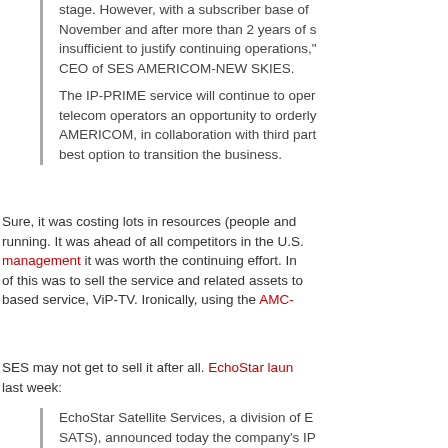stage. However, with a subscriber base of November and after more than 2 years of s insufficient to justify continuing operations, CEO of SES AMERICOM-NEW SKIES.
The IP-PRIME service will continue to oper telecom operators an opportunity to orderly AMERICOM, in collaboration with third part best option to transition the business.
Sure, it was costing lots in resources (people and running. It was ahead of all competitors in the U.S. management it was worth the continuing effort. In of this was to sell the service and related assets to based service, ViP-TV. Ironically, using the AMC-
SES may not get to sell it after all. EchoStar lau last week:
EchoStar Satellite Services, a division of E SATS), announced today the company's IP to provide continued delivery of video trans facilities across the United States. Commer previously announced it will discontinue its facilities by July 31, 2009. EchoStar's IP-Pr qualified customers with EchoStar's ViP-TV IDC satellite receivers and a standard profe compatible LNBs, a satellite dish re-point.